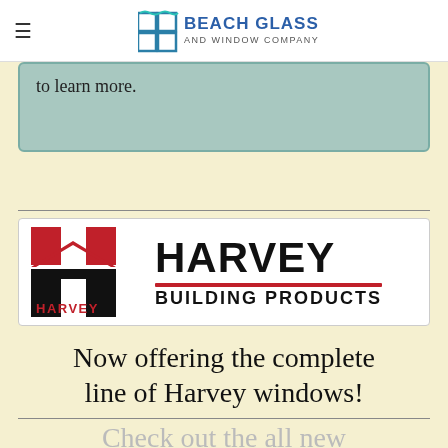Beach Glass and Window Company
to learn more.
[Figure (logo): Harvey Building Products logo — stylized H in red and black with text HARVEY BUILDING PRODUCTS]
Now offering the complete line of Harvey windows!
Check out the all new Glass Blogs & Forum